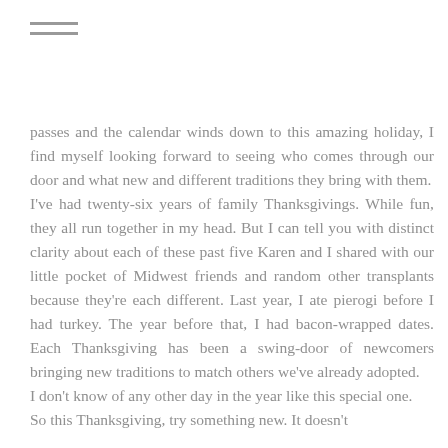≡
passes and the calendar winds down to this amazing holiday, I find myself looking forward to seeing who comes through our door and what new and different traditions they bring with them.
    I've had twenty-six years of family Thanksgivings. While fun, they all run together in my head. But I can tell you with distinct clarity about each of these past five Karen and I shared with our little pocket of Midwest friends and random other transplants because they're each different. Last year, I ate pierogi before I had turkey. The year before that, I had bacon-wrapped dates. Each Thanksgiving has been a swing-door of newcomers bringing new traditions to match others we've already adopted.
    I don't know of any other day in the year like this special one.
    So this Thanksgiving, try something new. It doesn't